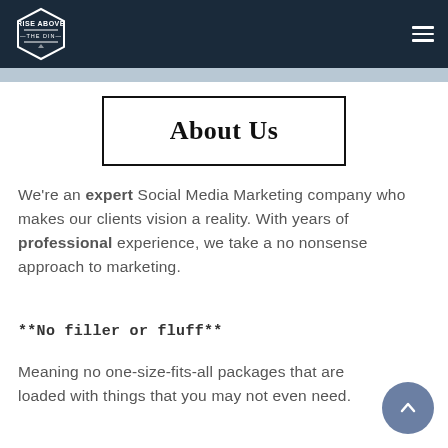Rise Above The Din — navigation header
About Us
We're an expert Social Media Marketing company who makes our clients vision a reality. With years of professional experience, we take a no nonsense approach to marketing.
**No filler or fluff**
Meaning no one-size-fits-all packages that are loaded with things that you may not even need.